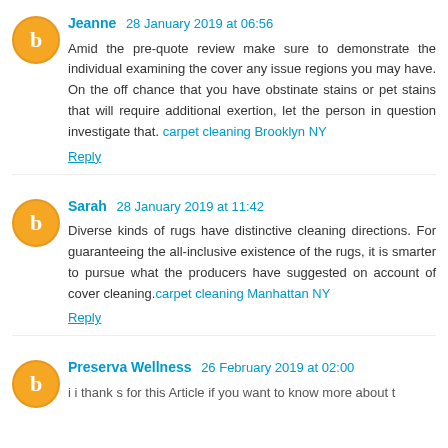Jeanne  28 January 2019 at 06:56
Amid the pre-quote review make sure to demonstrate the individual examining the cover any issue regions you may have. On the off chance that you have obstinate stains or pet stains that will require additional exertion, let the person in question investigate that. carpet cleaning Brooklyn NY
Reply
Sarah  28 January 2019 at 11:42
Diverse kinds of rugs have distinctive cleaning directions. For guaranteeing the all-inclusive existence of the rugs, it is smarter to pursue what the producers have suggested on account of cover cleaning.carpet cleaning Manhattan NY
Reply
Preserva Wellness  26 February 2019 at 02:00
i i thank s for this Article if you want to know more about t